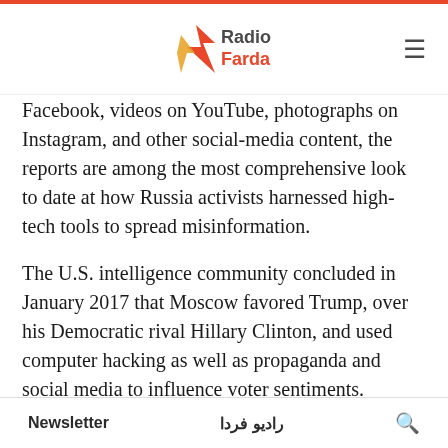Radio Farda
Facebook, videos on YouTube, photographs on Instagram, and other social-media content, the reports are among the most comprehensive look to date at how Russia activists harnessed high-tech tools to spread misinformation.
The U.S. intelligence community concluded in January 2017 that Moscow favored Trump, over his Democratic rival Hillary Clinton, and used computer hacking as well as propaganda and social media to influence voter sentiments.
One of the reports provided new details about how Russians working at a St. Petersburg company known
Newsletter | رادیو فردا | 🔍